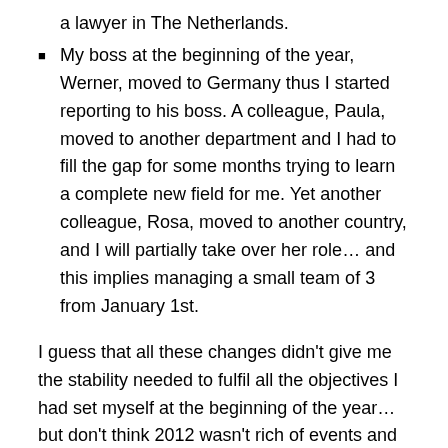a lawyer in The Netherlands.
My boss at the beginning of the year, Werner, moved to Germany thus I started reporting to his boss. A colleague, Paula, moved to another department and I had to fill the gap for some months trying to learn a complete new field for me. Yet another colleague, Rosa, moved to another country, and I will partially take over her role… and this implies managing a small team of 3 from January 1st.
I guess that all these changes didn't give me the stability needed to fulfil all the objectives I had set myself at the beginning of the year… but don't think 2012 wasn't rich of events and fun. Have a seat in the roller coaster and run with me:
Sports. I wanted to do plenty of sports… in the end I run